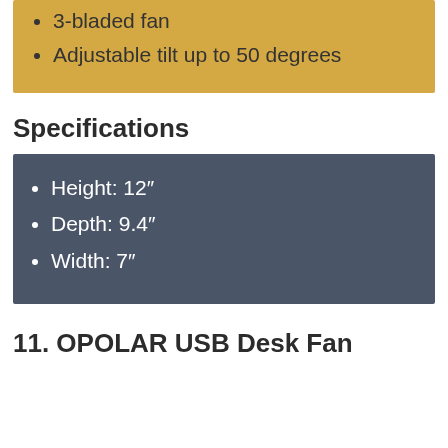3-bladed fan
Adjustable tilt up to 50 degrees
Specifications
Height: 12"
Depth: 9.4"
Width: 7"
11. OPOLAR USB Desk Fan